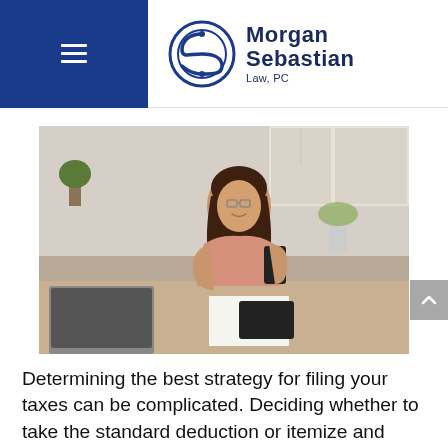Morgan Sebastian Law, PC
[Figure (photo): Woman with glasses smiling while using a calculator and smartphone at a desk with a laptop, in a bright kitchen/home office setting.]
Determining the best strategy for filing your taxes can be complicated. Deciding whether to take the standard deduction or itemize and whether to claim your dependent's income on your own tax return are just two